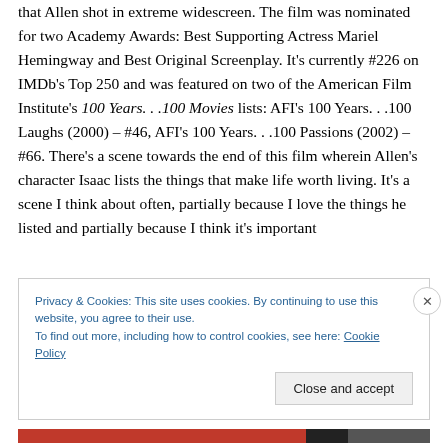that Allen shot in extreme widescreen. The film was nominated for two Academy Awards: Best Supporting Actress Mariel Hemingway and Best Original Screenplay. It's currently #226 on IMDb's Top 250 and was featured on two of the American Film Institute's 100 Years. . .100 Movies lists: AFI's 100 Years. . .100 Laughs (2000) – #46, AFI's 100 Years. . .100 Passions (2002) – #66. There's a scene towards the end of this film wherein Allen's character Isaac lists the things that make life worth living. It's a scene I think about often, partially because I love the things he listed and partially because I think it's important
Privacy & Cookies: This site uses cookies. By continuing to use this website, you agree to their use.
To find out more, including how to control cookies, see here: Cookie Policy